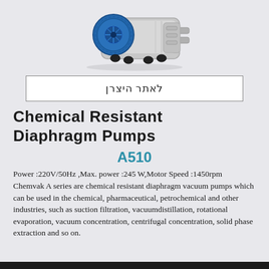[Figure (photo): Chemical resistant diaphragm pump (Chemvak A series) photographed from a slight angle, showing blue fan cover and silver/grey body with black rubber feet.]
לאתר היצרן
Chemical Resistant Diaphragm Pumps
A510
Power :220V/50Hz ,Max. power :245 W,Motor Speed :1450rpm
Chemvak A series are chemical resistant diaphragm vacuum pumps which can be used in the chemical, pharmaceutical, petrochemical and other industries, such as suction filtration, vacuumdistillation, rotational evaporation, vacuum concentration, centrifugal concentration, solid phase extraction and so on.